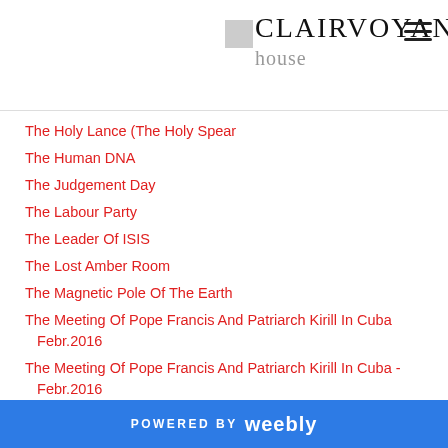CLAIRVOYANT house
The Holy Lance (The Holy Spear
The Human DNA
The Judgement Day
The Labour Party
The Leader Of ISIS
The Lost Amber Room
The Magnetic Pole Of The Earth
The Meeting Of Pope Francis And Patriarch Kirill In Cuba Febr.2016
The Meeting Of Pope Francis And Patriarch Kirill In Cuba - Febr.2016
The Mitchell - Hedges Crystal Skull
The Moon
The Mount Of Olives Cemetery
The Mysterious Giant Sphere In Bosnia
POWERED BY weebly